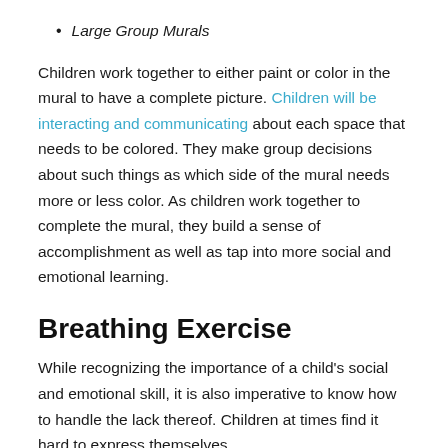Large Group Murals
Children work together to either paint or color in the mural to have a complete picture. Children will be interacting and communicating about each space that needs to be colored. They make group decisions about such things as which side of the mural needs more or less color. As children work together to complete the mural, they build a sense of accomplishment as well as tap into more social and emotional learning.
Breathing Exercise
While recognizing the importance of a child's social and emotional skill, it is also imperative to know how to handle the lack thereof. Children at times find it hard to express themselves.